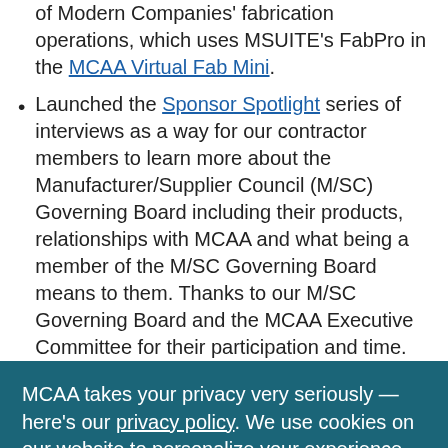of Modern Companies' fabrication operations, which uses MSUITE's FabPro in the MCAA Virtual Fab Mini.
Launched the Sponsor Spotlight series of interviews as a way for our contractor members to learn more about the Manufacturer/Supplier Council (M/SC) Governing Board including their products, relationships with MCAA and what being a member of the M/SC Governing Board means to them. Thanks to our M/SC Governing Board and the MCAA Executive Committee for their participation and time.
MCAA takes your privacy very seriously — here's our privacy policy. We use cookies on our website to personalize your experience, and by continuing to use the site you are agreeing to their use.
I ACCEPT